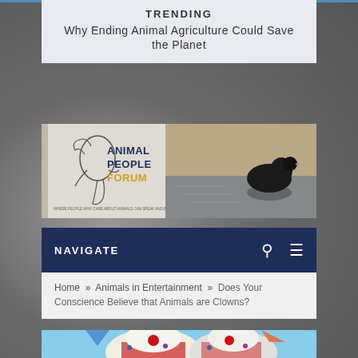TRENDING
Why Ending Animal Agriculture Could Save the Planet
[Figure (logo): Animal People Forum logo with bird illustration and animal photo]
NAVIGATE
Home » Animals in Entertainment » Does Your Conscience Believe that Animals are Clowns?
[Figure (photo): Clown elephants dressed in colorful clown costumes at a circus or parade]